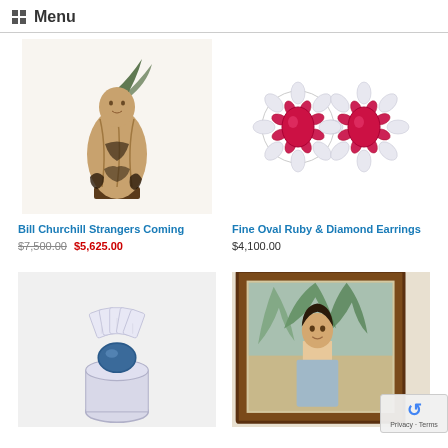Menu
[Figure (photo): Carved wooden figurine of a robed person, Bill Churchill Strangers Coming sculpture]
[Figure (photo): Fine oval ruby and diamond cluster earrings, pair of jeweled earrings with pink/red gemstones surrounded by diamonds]
Bill Churchill Strangers Coming
$7,500.00 $5,625.00
Fine Oval Ruby & Diamond Earrings
$4,100.00
[Figure (photo): Diamond and blue gemstone ring, ballerina style with baguette diamonds surrounding a central blue stone]
[Figure (photo): Framed oil painting portrait of a woman with dark hair, seated near bamboo plants]